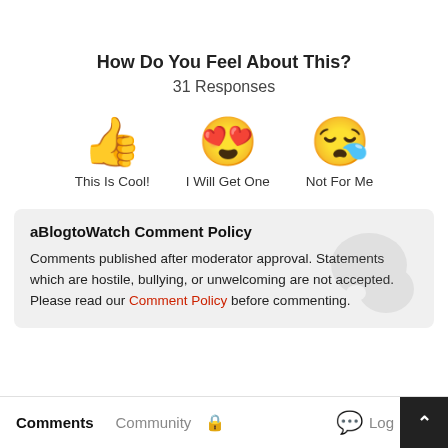How Do You Feel About This?
31 Responses
[Figure (infographic): Three emoji reaction options: thumbs up (This Is Cool!), heart-eyes face (I Will Get One), crying/tired face (Not For Me)]
aBlogtoWatch Comment Policy
Comments published after moderator approval. Statements which are hostile, bullying, or unwelcoming are not accepted. Please read our Comment Policy before commenting.
Comments  Community  🔒  Log